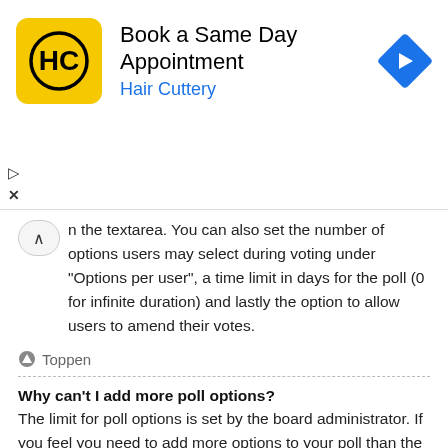[Figure (logo): Hair Cuttery advertisement banner with HC logo, 'Book a Same Day Appointment' title, 'Hair Cuttery' subtitle in blue, and a blue diamond navigation arrow icon]
n the textarea. You can also set the number of options users may select during voting under "Options per user", a time limit in days for the poll (0 for infinite duration) and lastly the option to allow users to amend their votes.
Toppen
Why can't I add more poll options?
The limit for poll options is set by the board administrator. If you feel you need to add more options to your poll than the allowed amount, contact the board administrator.
Toppen
How do I edit or delete a poll?
As with posts, polls can only be edited by the original poster, a moderator or an administrator. To edit a poll, click to edit the first post in the topic; this always has the poll associated with